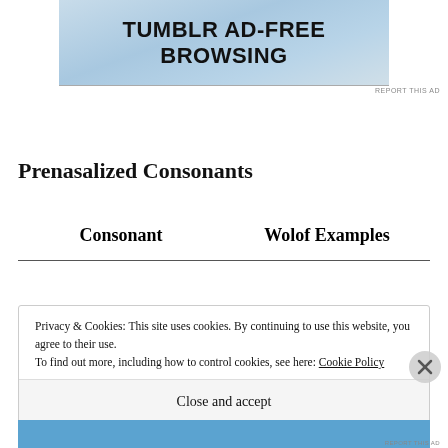[Figure (illustration): Tumblr Ad-Free Browsing banner ad with blue/grey gradient background and bold black text]
REPORT THIS AD
Prenasalized Consonants
| Consonant | Wolof Examples |
| --- | --- |
Privacy & Cookies: This site uses cookies. By continuing to use this website, you agree to their use.
To find out more, including how to control cookies, see here: Cookie Policy
Close and accept